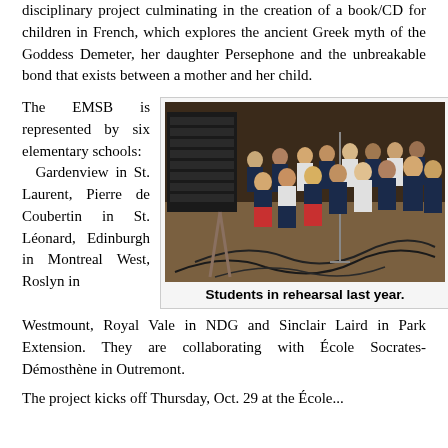disciplinary project culminating in the creation of a book/CD for children in French, which explores the ancient Greek myth of the Goddess Demeter, her daughter Persephone and the unbreakable bond that exists between a mother and her child.
The EMSB is represented by six elementary schools: Gardenview in St. Laurent, Pierre de Coubertin in St. Léonard, Edinburgh in Montreal West, Roslyn in Westmount, Royal Vale in NDG and Sinclair Laird in Park Extension. They are collaborating with École Socrates-Démosthène in Outremont.
[Figure (photo): Students standing on a stage in rehearsal, with microphone stands and cables visible on the floor, and audio/recording equipment in the foreground.]
Students in rehearsal last year.
The project kicks off Thursday, Oct. 29 at the École...